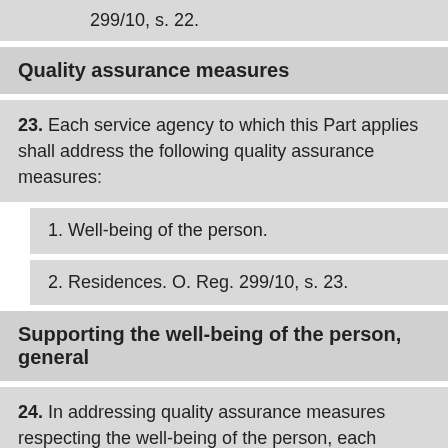299/10, s. 22.
Quality assurance measures
23. Each service agency to which this Part applies shall address the following quality assurance measures:
1. Well-being of the person.
2. Residences. O. Reg. 299/10, s. 23.
Supporting the well-being of the person, general
24. In addressing quality assurance measures respecting the well-being of the person, each service agency shall ensure the following is done: